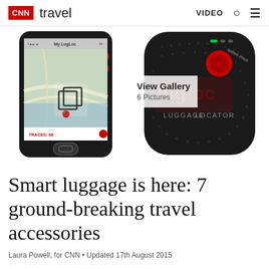CNN travel   VIDEO
[Figure (photo): CNN Travel article page showing a smartphone with LugLoc app open displaying a map, alongside the black LugLoc luggage locator device, with a 'View Gallery / 6 Pictures' overlay.]
Smart luggage is here: 7 ground-breaking travel accessories
Laura Powell, for CNN • Updated 17th August 2015